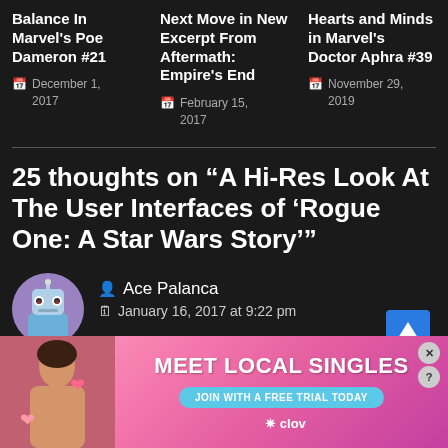Balance In Marvel's Poe Dameron #21 — December 1, 2017
Next Move in New Excerpt From Aftermath: Empire's End — February 15, 2017
Hearts and Minds in Marvel's Doctor Aphra #39 — November 29, 2019
25 thoughts on “A Hi-Res Look At The User Interfaces of ‘Rogue One: A Star Wars Story’”
Ace Palanca — January 16, 2017 at 9:22 pm
[Figure (photo): Advertisement banner: Meet Local Singles — Join with a free trial today — Clover app]
[Figure (illustration): Cartoon robot avatar for commenter Ace Palanca]